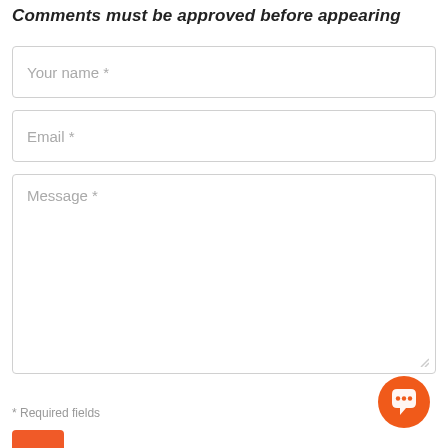Comments must be approved before appearing
[Figure (screenshot): A web comment/contact form with three input fields: 'Your name *', 'Email *', and a large 'Message *' textarea. Below the form is '* Required fields' note and an orange chat bubble floating action button in the bottom right. A partial orange submit button is visible at the very bottom.]